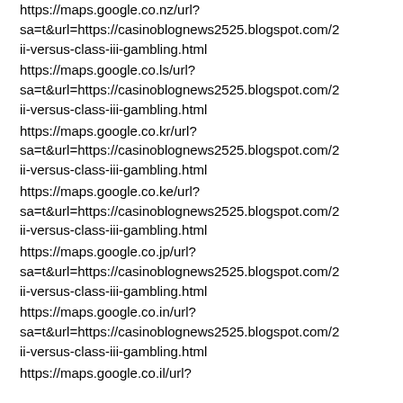https://maps.google.co.nz/url?sa=t&url=https://casinoblognews2525.blogspot.com/2ii-versus-class-iii-gambling.html
https://maps.google.co.ls/url?sa=t&url=https://casinoblognews2525.blogspot.com/2ii-versus-class-iii-gambling.html
https://maps.google.co.kr/url?sa=t&url=https://casinoblognews2525.blogspot.com/2ii-versus-class-iii-gambling.html
https://maps.google.co.ke/url?sa=t&url=https://casinoblognews2525.blogspot.com/2ii-versus-class-iii-gambling.html
https://maps.google.co.jp/url?sa=t&url=https://casinoblognews2525.blogspot.com/2ii-versus-class-iii-gambling.html
https://maps.google.co.in/url?sa=t&url=https://casinoblognews2525.blogspot.com/2ii-versus-class-iii-gambling.html
https://maps.google.co.il/url?